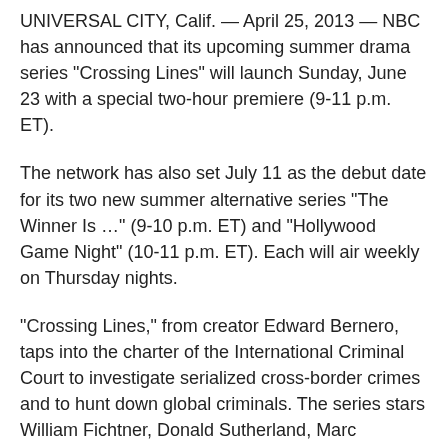UNIVERSAL CITY, Calif. — April 25, 2013 — NBC has announced that its upcoming summer drama series “Crossing Lines” will launch Sunday, June 23 with a special two-hour premiere (9-11 p.m. ET).
The network has also set July 11 as the debut date for its two new summer alternative series “The Winner Is …” (9-10 p.m. ET) and “Hollywood Game Night” (10-11 p.m. ET). Each will air weekly on Thursday nights.
“Crossing Lines,” from creator Edward Bernero, taps into the charter of the International Criminal Court to investigate serialized cross-border crimes and to hunt down global criminals. The series stars William Fichtner, Donald Sutherland, Marc Lavoine, Gabriella Pession, Tom Wlaschiha, Moon Dailly and Richard Flood.
The series is produced by Tandem Communications, Bernero Productions, in co-